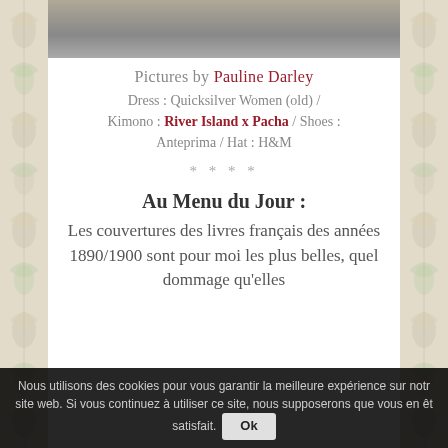[Figure (photo): Partial view of a person in a white dress/kimono outfit against a stone wall background]
Pictures by Pauline Darley
Dress : Quicksilver Women (old) / Kimono : River Island x Pacha / Shoes : Anteprima / Hat : H&M
* * * *
Au Menu du Jour :
Les couvertures des livres français des années 1890/1900 sont pour moi les plus belles, quel dommage qu'elles
Nous utilisons des cookies pour vous garantir la meilleure expérience sur notre site web. Si vous continuez à utiliser ce site, nous supposerons que vous en êtes satisfait. Ok